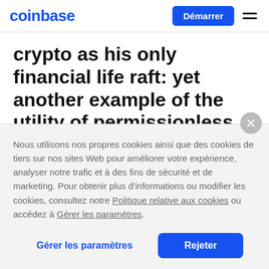coinbase | Démarrer
crypto as his only financial life raft: yet another example of the utility of permissionless finance.
Nous utilisons nos propres cookies ainsi que des cookies de tiers sur nos sites Web pour améliorer votre expérience, analyser notre trafic et à des fins de sécurité et de marketing. Pour obtenir plus d'informations ou modifier les cookies, consultez notre Politique relative aux cookies ou accédez à Gérer les paramètres.
Gérer les paramètres | Rejeter